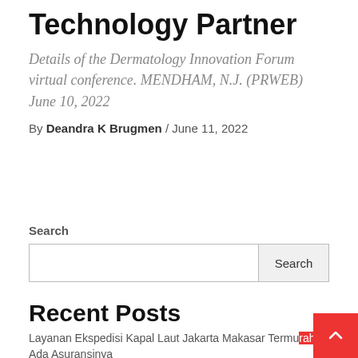Technology Partner
Details of the Dermatology Innovation Forum virtual conference. MENDHAM, N.J. (PRWEB) June 10, 2022
By Deandra K Brugmen / June 11, 2022
Search
Search
Recent Posts
Layanan Ekspedisi Kapal Laut Jakarta Makasar Termurah Ada Asuransinya